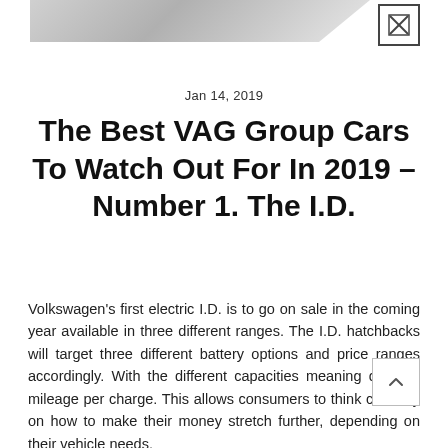[Figure (illustration): Grey diagonal banner/header graphic in top left area with a logo box in the top right corner containing a stylized icon]
Jan 14, 2019
The Best VAG Group Cars To Watch Out For In 2019 – Number 1. The I.D.
Volkswagen's first electric I.D. is to go on sale in the coming year available in three different ranges. The I.D. hatchbacks will target three different battery options and price ranges accordingly. With the different capacities meaning differing mileage per charge. This allows consumers to think carefully on how to make their money stretch further, depending on their vehicle needs.